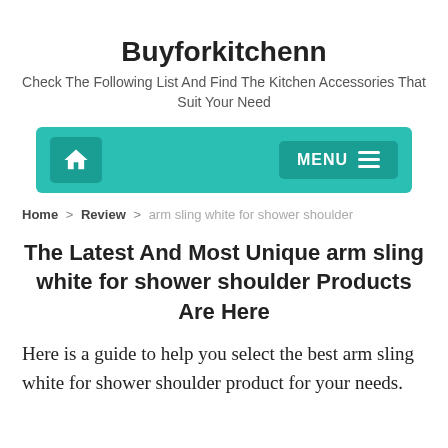Buyforkitchenn
Check The Following List And Find The Kitchen Accessories That Suit Your Need
[Figure (screenshot): Navigation bar with teal background, home icon button on left and MENU button with hamburger icon on right]
Home > Review > arm sling white for shower shoulder
The Latest And Most Unique arm sling white for shower shoulder Products Are Here
Here is a guide to help you select the best arm sling white for shower shoulder product for your needs.